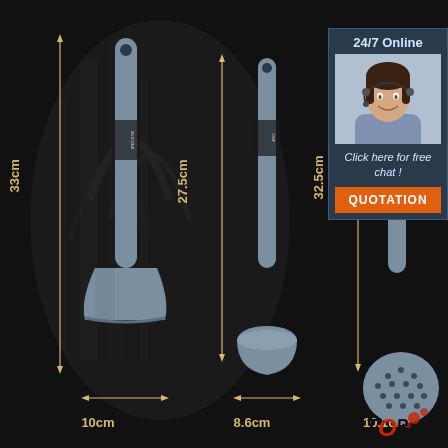[Figure (photo): Product image showing three gray silicone kitchen utensils (spatula/turner, ladle, and a slotted turner/strainer) on a dark architectural background with measurement dimensions: 33cm height and 10cm width for spatula, 27.5cm height and 8.6cm width for ladle, 32.5cm height and 10.1cm width for third tool. A 24/7 online customer service chat box appears in the top right with a photo of a smiling woman with headset, 'Click here for free chat!', and an orange QUOTATION button. A circular perforated tool detail is shown bottom right with a 'TOP' logo.]
24/7 Online
Click here for free chat !
QUOTATION
33cm
27.5cm
32.5cm
10cm
8.6cm
10.1cm